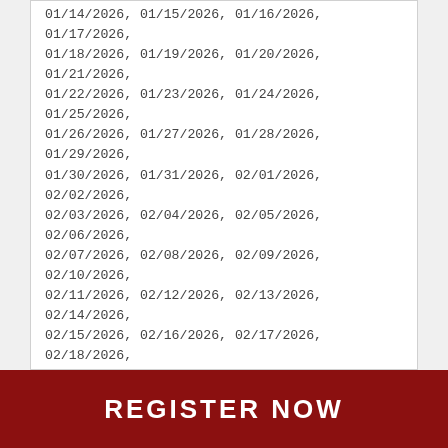01/14/2026, 01/15/2026, 01/16/2026, 01/17/2026, 01/18/2026, 01/19/2026, 01/20/2026, 01/21/2026, 01/22/2026, 01/23/2026, 01/24/2026, 01/25/2026, 01/26/2026, 01/27/2026, 01/28/2026, 01/29/2026, 01/30/2026, 01/31/2026, 02/01/2026, 02/02/2026, 02/03/2026, 02/04/2026, 02/05/2026, 02/06/2026, 02/07/2026, 02/08/2026, 02/09/2026, 02/10/2026, 02/11/2026, 02/12/2026, 02/13/2026, 02/14/2026, 02/15/2026, 02/16/2026, 02/17/2026, 02/18/2026, 02/19/2026, 02/20/2026, 02/21/2026, 02/22/2026, 02/23/2026, 02/24/2026, 02/25/2026, 02/26/2026, 02/27/2026, 02/28/2026, 03/01/2026, 03/02/2026, 03/03/2026, 03/04/2026, 03/05/2026, 03/06/2026, 03/07/2026, 03/08/2026, 03/09/2026, 03/10/2026, 03/11/2026, 03/12/2026, 03/13/2026, 03/14/2026, 03/15/2026, 03/16/2026, 03/17/2026, 03/18/2026, 03/19/2026, 03/20/2026, 03/21/2026, 03/22/2026, 03/23/2026, 03/24/2026, 03/25/2026, 03/26/2026, 03/27/2026, 03/28/2026, 03/29/2026, 03/30/2026, 03/31/2026, 04/01/2026, 04/02/2026, 04/03/2026...
REGISTER NOW